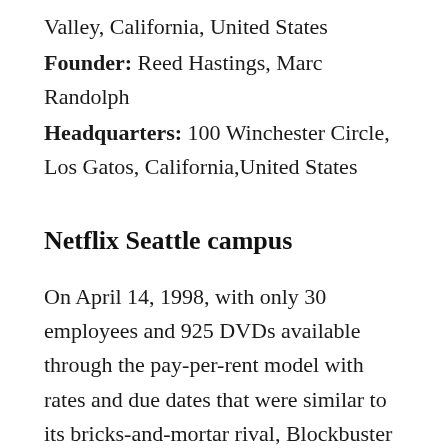Valley, California, United States
Founder: Reed Hastings, Marc Randolph
Headquarters: 100 Winchester Circle, Los Gatos, California,United States
Netflix Seattle campus
On April 14, 1998, with only 30 employees and 925 DVDs available through the pay-per-rent model with rates and due dates that were similar to its bricks-and-mortar rival, Blockbuster